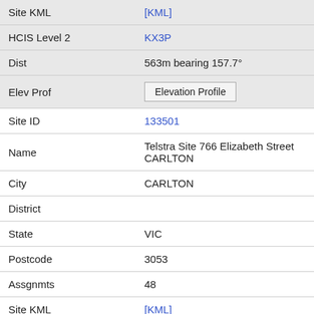| Field | Value |
| --- | --- |
| Site KML | [KML] |
| HCIS Level 2 | KX3P |
| Dist | 563m bearing 157.7° |
| Elev Prof | Elevation Profile |
| Site ID | 133501 |
| Name | Telstra Site 766 Elizabeth Street CARLTON |
| City | CARLTON |
| District |  |
| State | VIC |
| Postcode | 3053 |
| Assgnmts | 48 |
| Site KML | [KML] |
| HCIS Level 2 | KX3P |
| Dist | 570m bearing 263.8° |
| Elev Prof | Elevation Profile |
| Site ID | 9012209 |
| Name |  |